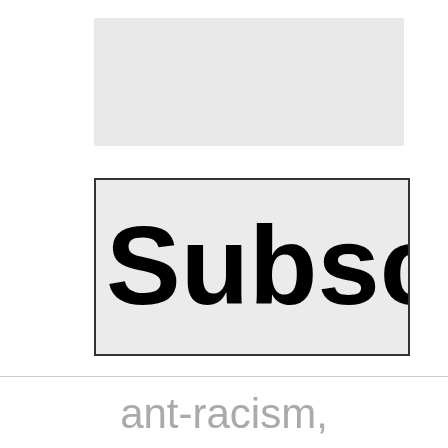[Figure (other): Light gray rounded rectangle placeholder image area]
[Figure (other): Subscribe button UI element with bold text 'Subscri' visible, partially cropped, on light gray background with dark border]
ant-racism,